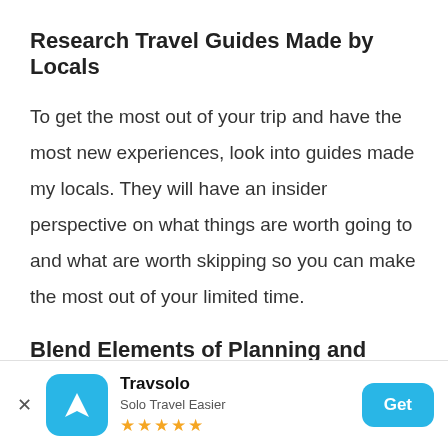Research Travel Guides Made by Locals
To get the most out of your trip and have the most new experiences, look into guides made my locals. They will have an insider perspective on what things are worth going to and what are worth skipping so you can make the most out of your limited time.
Blend Elements of Planning and Spontaneity
With your goal of getting the most new
[Figure (other): App install banner for Travsolo - Solo Travel Easier app with 5 stars and a Get button]